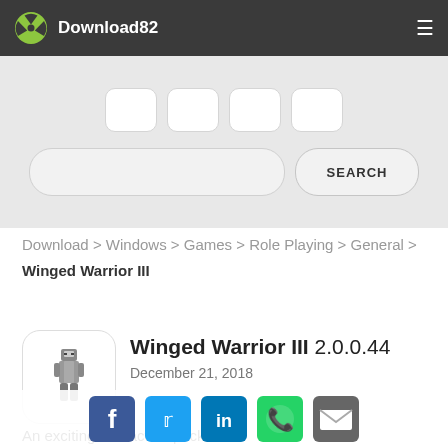Download82
[Figure (screenshot): Search bar with input field and SEARCH button on grey background with icon boxes above]
Download > Windows > Games > Role Playing > General > Winged Warrior III
[Figure (illustration): App icon showing a pixel art warrior character in a rounded white box]
Winged Warrior III 2.0.0.44
December 21, 2018
An exciting and action packed adventure game
[Figure (screenshot): Social sharing icons: Facebook, Twitter, LinkedIn, WhatsApp, Email]